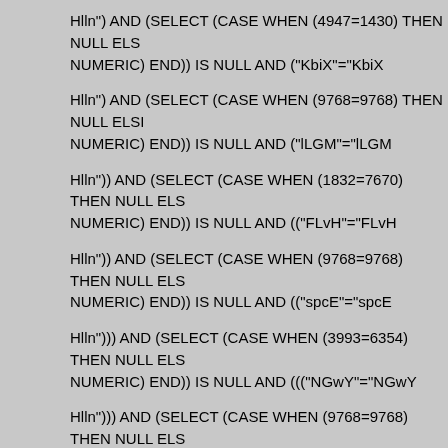Hlln") AND (SELECT (CASE WHEN (4947=1430) THEN NULL ELSE CAST((CHR(113)||CHR(106)||CHR(118)||CHR(106)||CHR(113)) AS NUMERIC) END)) IS NULL AND ("KbiX"="KbiX
Hlln") AND (SELECT (CASE WHEN (9768=9768) THEN NULL ELSE CAST((CHR(113)||CHR(106)||CHR(118)||CHR(106)||CHR(113)) AS NUMERIC) END)) IS NULL AND ("lLGM"="lLGM
Hlln")) AND (SELECT (CASE WHEN (1832=7670) THEN NULL ELSE CAST((CHR(113)||CHR(106)||CHR(118)||CHR(106)||CHR(113)) AS NUMERIC) END)) IS NULL AND (("FLvH"="FLvH
Hlln")) AND (SELECT (CASE WHEN (9768=9768) THEN NULL ELSE CAST((CHR(113)||CHR(106)||CHR(118)||CHR(106)||CHR(113)) AS NUMERIC) END)) IS NULL AND (("spcE"="spcE
Hlln"))) AND (SELECT (CASE WHEN (3993=6354) THEN NULL ELSE CAST((CHR(113)||CHR(106)||CHR(118)||CHR(106)||CHR(113)) AS NUMERIC) END)) IS NULL AND ((("NGwY"="NGwY
Hlln"))) AND (SELECT (CASE WHEN (9768=9768) THEN NULL ELSE CAST((CHR(113)||CHR(106)||CHR(118)||CHR(106)||CHR(113)) AS NUMERIC) END)) IS NULL AND ((("HgwO"="HgwO
What's Happening i'm new to this, I stumbled upon this I have found It positively helpful and it has aided me out loads. I'm hoping to contribute & aid different customers like its helped me. Gre
Hlln" AND (SELECT (CASE WHEN (3614=9552) THEN NULL ELSE CAST((CHR(113)||CHR(106)||CHR(118)||CHR(106)||CHR(113)) AS NUMERIC) END)) IS NULL AND "hWoz"="hWoz
cialis (tadalafil) <a href="https://aacilisus.com/ ">where to buy liquid cialis